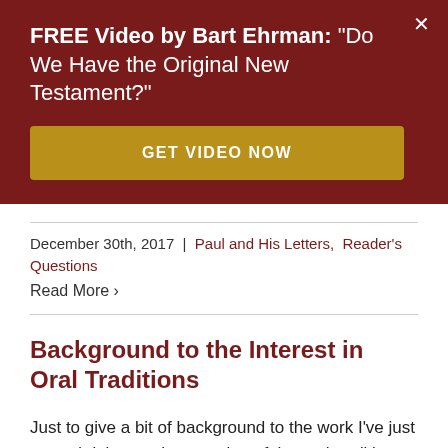FREE Video by Bart Ehrman: "Do We Have the Original New Testament?"
GET VIDEO NOW
December 30th, 2017 | Paul and His Letters, Reader's Questions
Read More ›
Background to the Interest in Oral Traditions
Just to give a bit of background to the work I've just started doing on the question of the oral traditions about Jesus in the years before the Gospels were